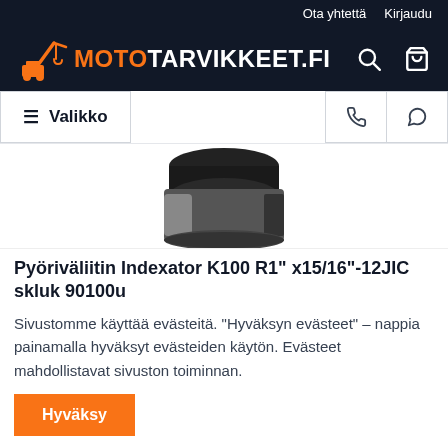Ota yhtettä  Kirjaudu
[Figure (logo): Mototarvikkeet.fi logo with orange construction vehicle icon and text MOTOTARVIKKEET.FI in orange and white]
≡ Valikko
[Figure (photo): Product photo of a rotary coupling/swivel fitting, dark metallic cylindrical part viewed from top-front angle]
Pyöriväliitin Indexator K100 R1" x15/16"-12JIC skluk 90100u
Sivustomme käyttää evästeitä. "Hyväksyn evästeet" – nappia painamalla hyväksyt evästeiden käytön. Evästeet mahdollistavat sivuston toiminnan.
Hyväksy